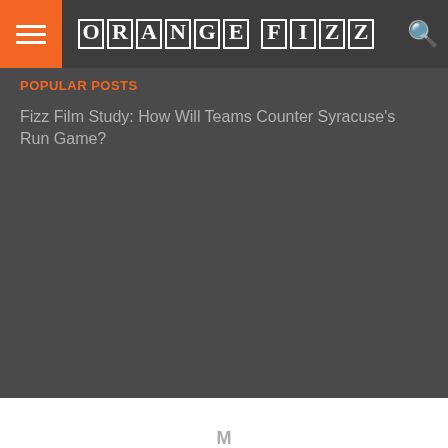ORANGE FIZZ
Popular Posts
Fizz Film Study: How Will Teams Counter Syracuse's Run Game?